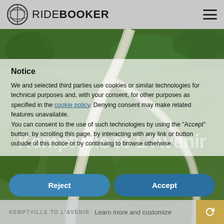[Figure (logo): RideBooker logo with circular icon and bold text]
[Figure (photo): Aerial view of a winding road through green forest/countryside, with text overlay 'Kemptville to L'Avenir']
Notice
We and selected third parties use cookies or similar technologies for technical purposes and, with your consent, for other purposes as specified in the cookie policy. Denying consent may make related features unavailable.
You can consent to the use of such technologies by using the "Accept" button, by scrolling this page, by interacting with any link or button outside of this notice or by continuing to browse otherwise.
Reject
Accept
KEMPTVILLE TO L'AVENIR   Learn more and customize